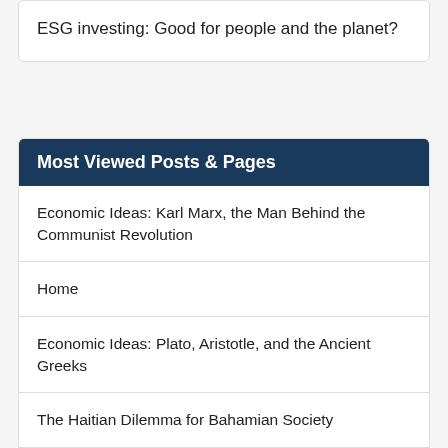ESG investing: Good for people and the planet?
Most Viewed Posts & Pages
Economic Ideas: Karl Marx, the Man Behind the Communist Revolution
Home
Economic Ideas: Plato, Aristotle, and the Ancient Greeks
The Haitian Dilemma for Bahamian Society
Ludwig von Mises and the Real Meaning of Liberalism